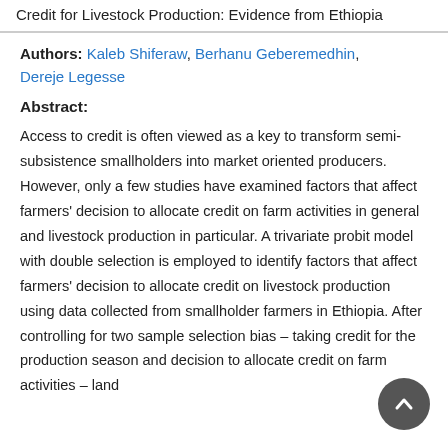Credit for Livestock Production: Evidence from Ethiopia
Authors: Kaleb Shiferaw, Berhanu Geberemedhin, Dereje Legesse
Abstract:
Access to credit is often viewed as a key to transform semi-subsistence smallholders into market oriented producers. However, only a few studies have examined factors that affect farmers' decision to allocate credit on farm activities in general and livestock production in particular. A trivariate probit model with double selection is employed to identify factors that affect farmers' decision to allocate credit on livestock production using data collected from smallholder farmers in Ethiopia. After controlling for two sample selection bias – taking credit for the production season and decision to allocate credit on farm activities – land